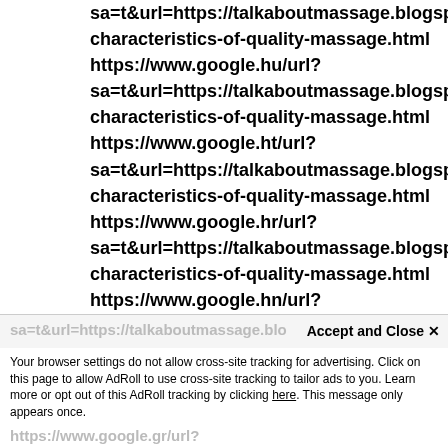sa=t&url=https://talkaboutmassage.blogspot.com/202 characteristics-of-quality-massage.html https://www.google.hu/url? sa=t&url=https://talkaboutmassage.blogspot.com/202 characteristics-of-quality-massage.html https://www.google.ht/url? sa=t&url=https://talkaboutmassage.blogspot.com/202 characteristics-of-quality-massage.html https://www.google.hr/url? sa=t&url=https://talkaboutmassage.blogspot.com/202 characteristics-of-quality-massage.html https://www.google.hn/url? sa=t&url=https://talkaboutmassage.blogspot.com/202 characteristics-of-quality-massage.html https://www.google.gr/url?
sa=t&url=https://talkaboutmassage.blo Accept and Close ×
Your browser settings do not allow cross-site tracking for advertising. Click on this page to allow AdRoll to use cross-site tracking to tailor ads to you. Learn more or opt out of this AdRoll tracking by clicking here. This message only appears once.
https://www.google.gr/url?